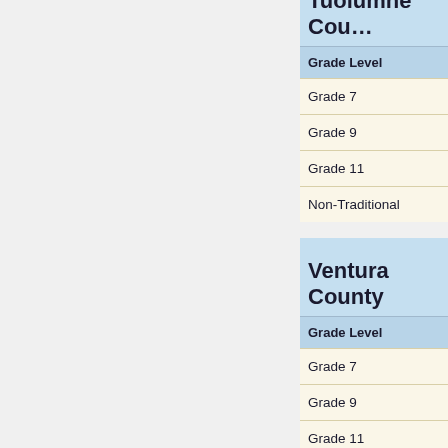| Grade Level |
| --- |
| Grade 7 |
| Grade 9 |
| Grade 11 |
| Non-Traditional |
| Grade Level |
| --- |
| Grade 7 |
| Grade 9 |
| Grade 11 |
| Non-Traditional |